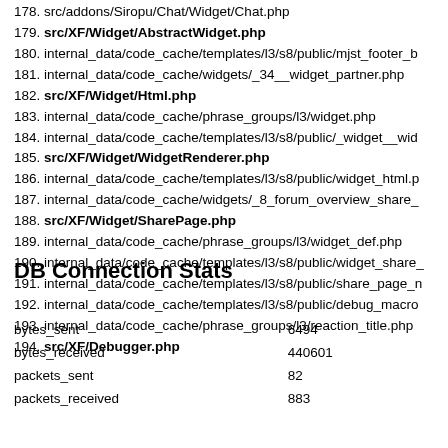178. src/addons/Siropu/Chat/Widget/Chat.php
179. src/XF/Widget/AbstractWidget.php
180. internal_data/code_cache/templates/l3/s8/public/mjst_footer_b
181. internal_data/code_cache/widgets/_34__widget_partner.php
182. src/XF/Widget/Html.php
183. internal_data/code_cache/phrase_groups/l3/widget.php
184. internal_data/code_cache/templates/l3/s8/public/_widget__wid
185. src/XF/Widget/WidgetRenderer.php
186. internal_data/code_cache/templates/l3/s8/public/widget_html.p
187. internal_data/code_cache/widgets/_8_forum_overview_share_
188. src/XF/Widget/SharePage.php
189. internal_data/code_cache/phrase_groups/l3/widget_def.php
190. internal_data/code_cache/templates/l3/s8/public/widget_share_
191. internal_data/code_cache/templates/l3/s8/public/share_page_n
192. internal_data/code_cache/templates/l3/s8/public/debug_macro
193. internal_data/code_cache/phrase_groups/l3/reaction_title.php
194. src/XF/Debugger.php
DB Connection Stats
|  |  |
| --- | --- |
| bytes_sent | 6494 |
| bytes_received | 440601 |
| packets_sent | 82 |
| packets_received | 883 |